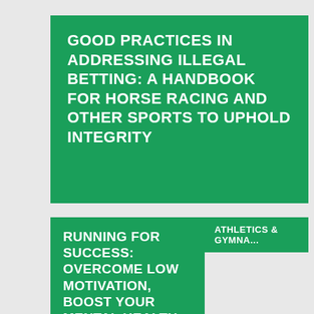GOOD PRACTICES IN ADDRESSING ILLEGAL BETTING: A HANDBOOK FOR HORSE RACING AND OTHER SPORTS TO UPHOLD INTEGRITY
RUNNING FOR SUCCESS: OVERCOME LOW MOTIVATION, BOOST YOUR MENTAL HEALTH, AND
ATHLETICS & GYMNA...